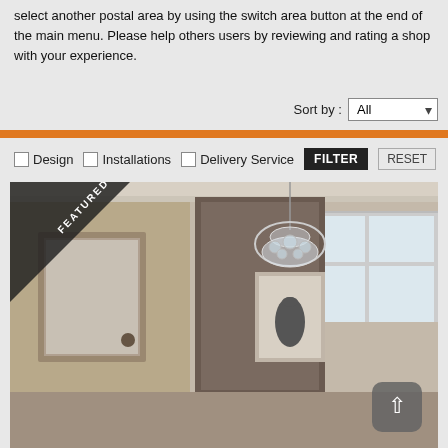select another postal area by using the switch area button at the end of the main menu. Please help others users by reviewing and rating a shop with your experience.
Sort by : All
[Figure (screenshot): Orange horizontal divider bar]
Design  Installations  Delivery Service  FILTER  RESET
[Figure (photo): Featured interior room photo showing a hallway/foyer with a framed mirror on the left wall, a decorative pendant chandelier in the center, a framed artwork on the far wall, and windows on the right. A 'FEATURED' ribbon banner is shown in the top-left corner of the image. A scroll-up button is in the bottom-right corner.]